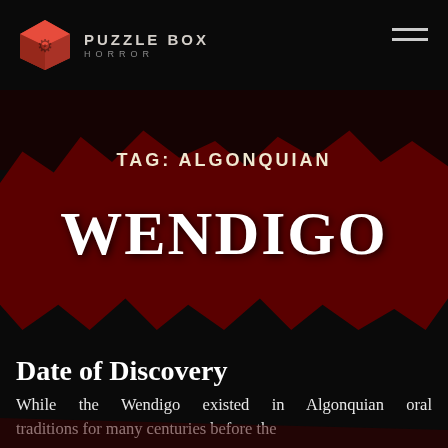Puzzle Box Horror
TAG: ALGONQUIAN
WENDIGO
Date of Discovery
While the Wendigo existed in Algonquian oral traditions for many centuries before the